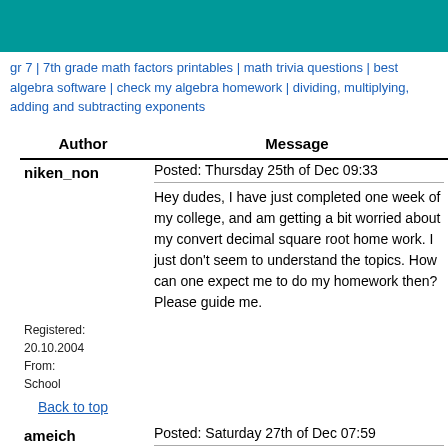gr 7 | 7th grade math factors printables | math trivia questions | best algebra software | check my algebra homework | dividing, multiplying, adding and subtracting exponents
| Author | Message |
| --- | --- |
| niken_non | Posted: Thursday 25th of Dec 09:33
Hey dudes, I have just completed one week of my college, and am getting a bit worried about my convert decimal square root home work. I just don't seem to understand the topics. How can one expect me to do my homework then? Please guide me. |
| ameich | Posted: Saturday 27th of Dec 07:59
I think I know what you are looking for. Check out Algebrator. This is an excellent tool that helps you |